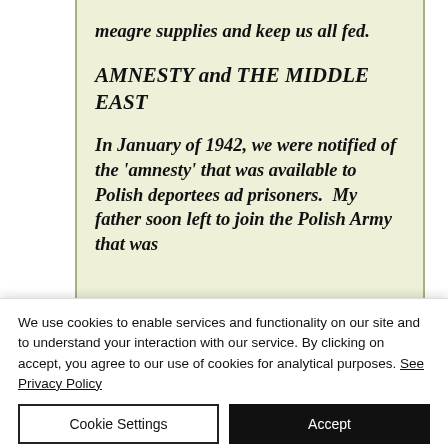meagre supplies and keep us all fed.
AMNESTY and THE MIDDLE EAST
In January of 1942, we were notified of the 'amnesty' that was available to Polish deportees ad prisoners.  My father soon left to join the Polish Army that was
We use cookies to enable services and functionality on our site and to understand your interaction with our service. By clicking on accept, you agree to our use of cookies for analytical purposes. See Privacy Policy